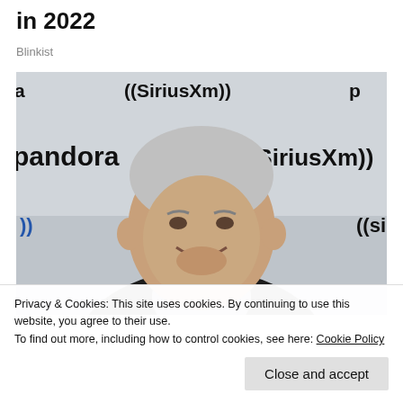in 2022
Blinkist
[Figure (photo): An elderly man smiling in front of a Pandora and SiriusXM branded backdrop]
Privacy & Cookies: This site uses cookies. By continuing to use this website, you agree to their use.
To find out more, including how to control cookies, see here: Cookie Policy
Close and accept